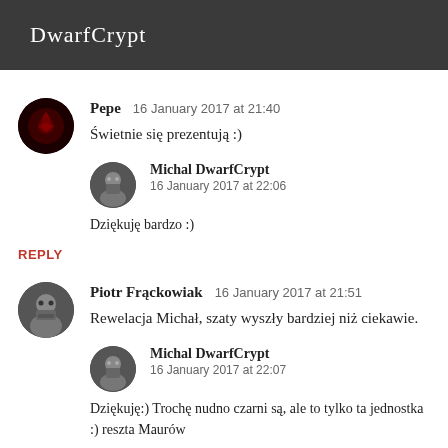DwarfCrypt
Pepe  16 January 2017 at 21:40
Świetnie się prezentują :)
Michal DwarfCrypt  16 January 2017 at 22:06
Dziękuję bardzo :)
REPLY
Piotr Frąckowiak  16 January 2017 at 21:51
Rewelacja Michał, szaty wyszły bardziej niż ciekawie.
Michal DwarfCrypt  16 January 2017 at 22:07
Dziękuję:) Trochę nudno czarni są, ale to tylko ta jednostka :) reszta Maurów